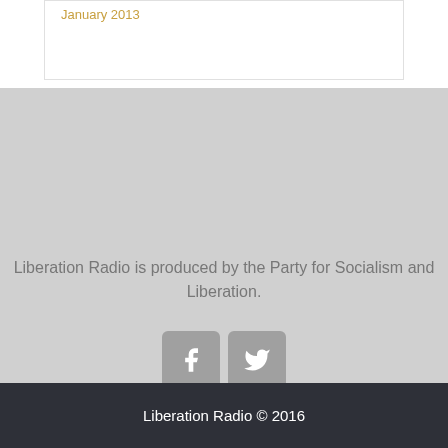January 2013
Liberation Radio is produced by the Party for Socialism and Liberation.
[Figure (other): Facebook and Twitter social media icon buttons]
Liberation Radio © 2016